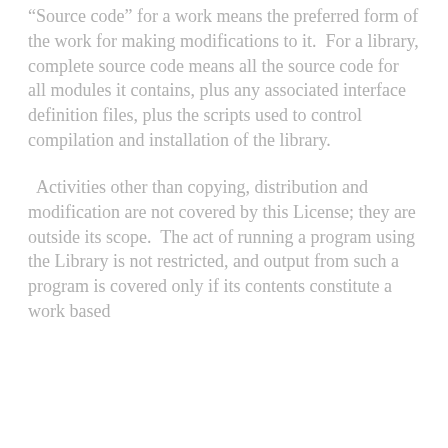"Source code" for a work means the preferred form of the work for making modifications to it.  For a library, complete source code means all the source code for all modules it contains, plus any associated interface definition files, plus the scripts used to control compilation and installation of the library.
Activities other than copying, distribution and modification are not covered by this License; they are outside its scope.  The act of running a program using the Library is not restricted, and output from such a program is covered only if its contents constitute a work based